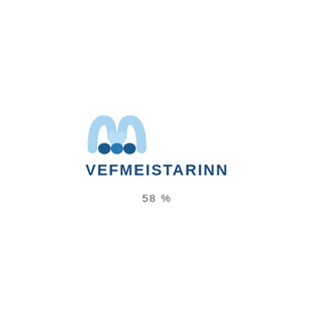[Figure (logo): Vefmeistarinn logo with stylized M shape in light blue and dark blue colors, followed by the text VEFMEISTARINN in dark blue bold uppercase letters]
58 %